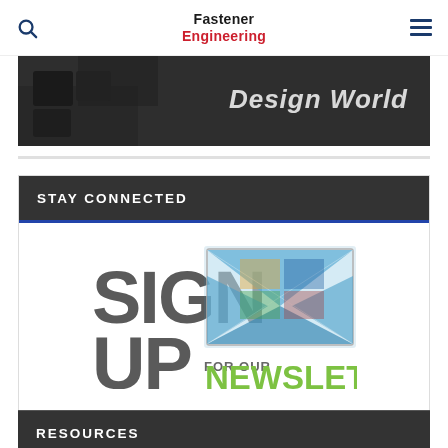Fastener Engineering
[Figure (photo): Dark background image showing puzzle pieces with 'Design World' text overlay]
STAY CONNECTED
[Figure (infographic): Sign up for our newsletter graphic with envelope icon and green NEWSLETTER text]
RESOURCES